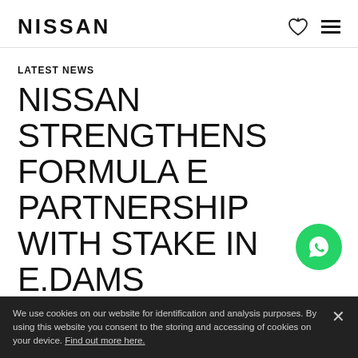NISSAN
LATEST NEWS
NISSAN STRENGTHENS FORMULA E PARTNERSHIP WITH STAKE IN E.DAMS
September 12, 2018
We use cookies on our website for identification and analysis purposes. By using this website you consent to the storing and accessing of cookies on your device. Find out more here.